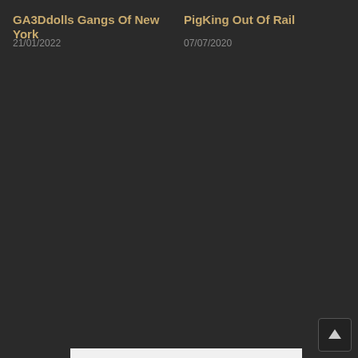GA3Ddolls Gangs Of New York
21/01/2022
PigKing Out Of Rail
07/07/2020
[Figure (other): Close button (X) overlay element]
[Figure (infographic): Download Comics Valley Android App banner with Android robot icon on left and app logo on right]